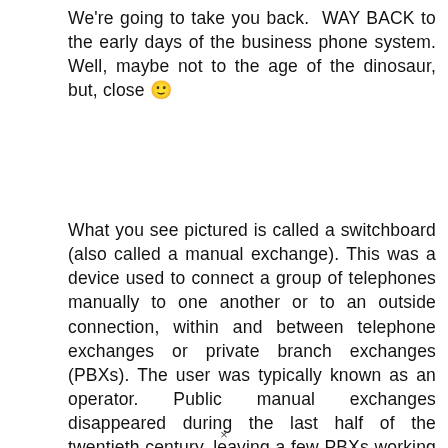We're going to take you back. WAY BACK to the early days of the business phone system. Well, maybe not to the age of the dinosaur, but, close 🙂
What you see pictured is called a switchboard (also called a manual exchange). This was a device used to connect a group of telephones manually to one another or to an outside connection, within and between telephone exchanges or private branch exchanges (PBXs). The user was typically known as an operator. Public manual exchanges disappeared during the last half of the twentieth century, leaving a few PBXs working in offices and hotels as manual bra[redacted]
×